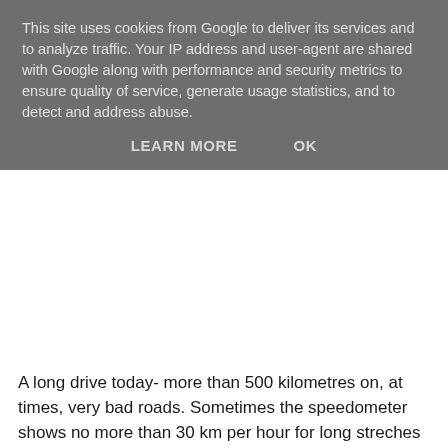This site uses cookies from Google to deliver its services and to analyze traffic. Your IP address and user-agent are shared with Google along with performance and security metrics to ensure quality of service, generate usage statistics, and to detect and address abuse.
LEARN MORE   OK
A long drive today- more than 500 kilometres on, at times, very bad roads. Sometimes the speedometer shows no more than 30 km per hour for long streches of road. There seems to be loads of roadworks going on, but the workers themselves are scarse, and there doesn`t seem to be much progress. The drivers are struggling with holes and bumps in the asphalt.
We decide to leave the main road and go on to Chupa, a small town by the White Sea, to find somewhere to camp for the night. The houses are mostly wooden, though a few huge appartment buildings dot the horizon. The town looks run-down and more or less dead. There are almost no lights to be seen.